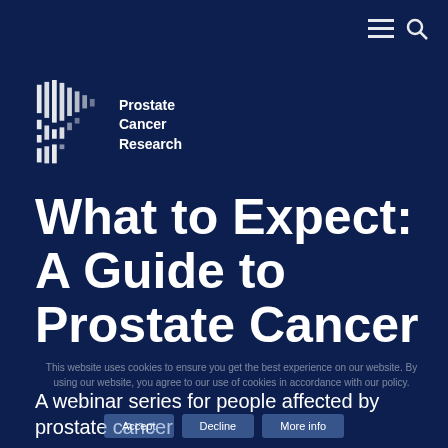≡ 🔍
[Figure (logo): Prostate Cancer Research logo — stylized 'P' made of vertical bar patterns in white, with text 'Prostate Cancer Research' to the right]
What to Expect: A Guide to Prostate Cancer
This website uses cookies to ensure you get the best experience on our website. By using our website, you agree to our use of cookies in accordance with our policy.
A webinar series for people affected by prostate cancer